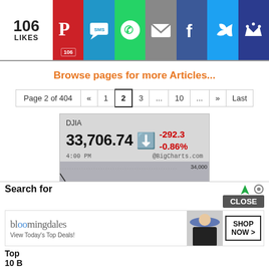[Figure (screenshot): Social sharing bar with 106 likes, Pinterest (106), SMS, WhatsApp, Email, Facebook, Twitter, Crown icons]
Browse pages for more Articles...
Page 2 of 404  «  1  2  3  ...  10  ...  »  Last
[Figure (continuous-plot): DJIA stock ticker widget showing 33,706.74, down -292.3 / -0.86%, 4:00 PM, BigCharts.com, with intraday line chart, y-axis: 33,800 to 34,000]
Search for
CLOSE
Top
10 B
[Figure (photo): Bloomingdale's advertisement: bloomingdales logo, 'View Today's Top Deals!' with woman in hat, SHOP NOW > button]